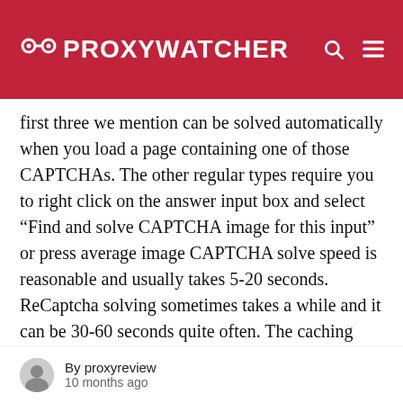PROXY WATCHER
first three we mention can be solved automatically when you load a page containing one of those CAPTCHAs. The other regular types require you to right click on the answer input box and select “Find and solve CAPTCHA image for this input” or press average image CAPTCHA solve speed is reasonable and usually takes 5-20 seconds. ReCaptcha solving sometimes takes a while and it can be 30-60 seconds quite often. The caching setting in the extension can help although it eats up your
By proxyreview
10 months ago